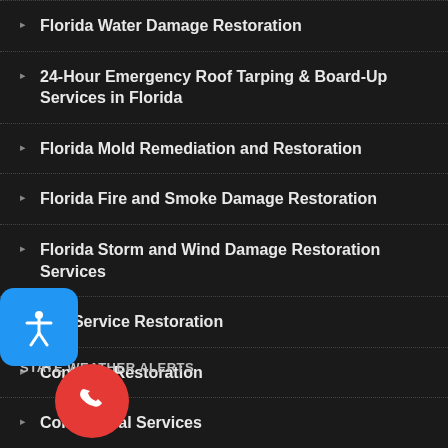Florida Water Damage Restoration
24-Hour Emergency Roof Tarping & Board-Up Services in Florida
Florida Mold Remediation and Restoration
Florida Fire and Smoke Damage Restoration
Florida Storm and Wind Damage Restoration Services
Full Service Restoration
Contents Restoration
Commercial Services
STATE WEATHER ALERTS